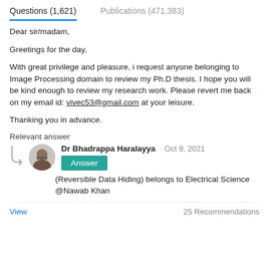Questions (1,621)    Publications (471,383)
Dear sir/madam,

Greetings for the day,

With great privilege and pleasure, i request anyone belonging to Image Processing domain to review my Ph.D thesis. I hope you will be kind enough to review my research work. Please revert me back on my email id: vivec53@gmail.com at your leisure.

Thanking you in advance.
Relevant answer
Dr Bhadrappa Haralayya · Oct 9, 2021
Answer
(Reversible Data Hiding) belongs to Electrical Science @Nawab Khan
View    25 Recommendations